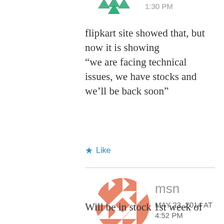[Figure (illustration): Green Flipkart-style logo icon partially visible at top, with timestamp 1:30 PM]
flipkart site showed that, but now it is showing “we are facing technical issues, we have stocks and we’ll be back soon”
★ Like
[Figure (illustration): Circular avatar with orange/salmon geometric diamond quilt pattern for user msn]
msn
MAY 23, 2014 AT 4:52 PM
Will be in stock 1st week of